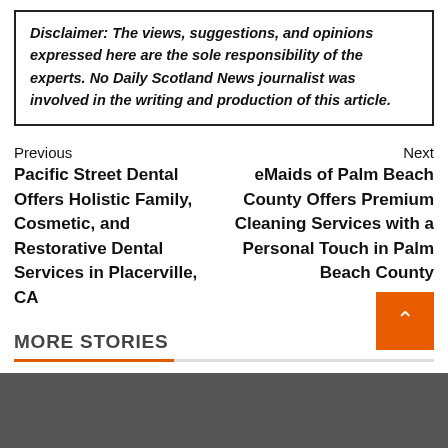Disclaimer: The views, suggestions, and opinions expressed here are the sole responsibility of the experts. No Daily Scotland News journalist was involved in the writing and production of this article.
Previous
Pacific Street Dental Offers Holistic Family, Cosmetic, and Restorative Dental Services in Placerville, CA
Next
eMaids of Palm Beach County Offers Premium Cleaning Services with a Personal Touch in Palm Beach County
MORE STORIES